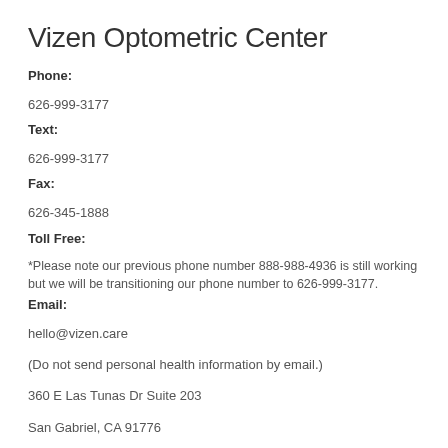Vizen Optometric Center
Phone:
626-999-3177
Text:
626-999-3177
Fax:
626-345-1888
Toll Free:
*Please note our previous phone number 888-988-4936 is still working but we will be transitioning our phone number to 626-999-3177.
Email:
hello@vizen.care
(Do not send personal health information by email.)
360 E Las Tunas Dr Suite 203
San Gabriel, CA 91776